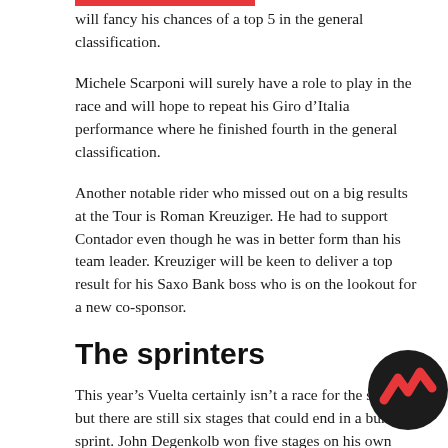will fancy his chances of a top 5 in the general classification.
Michele Scarponi will surely have a role to play in the race and will hope to repeat his Giro d’Italia performance where he finished fourth in the general classification.
Another notable rider who missed out on a big results at the Tour is Roman Kreuziger. He had to support Contador even though he was in better form than his team leader. Kreuziger will be keen to deliver a top result for his Saxo Bank boss who is on the lookout for a new co-sponsor.
The sprinters
This year’s Vuelta certainly isn’t a race for the sprinters but there are still six stages that could end in a bunch sprint. John Degenkolb won five stages on his own last year but he won’t be in attendance this time around. will the likes of Mark Cavendish, Andre Greipel or Marcel
[Figure (logo): Circular dark logo with red zigzag mountain/wave mark]